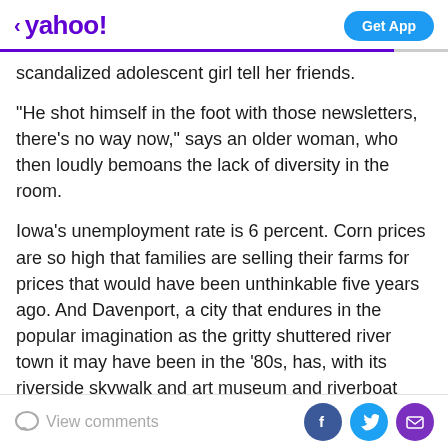< yahoo!  Get App
scandalized adolescent girl tell her friends.
"He shot himself in the foot with those newsletters, there's no way now," says an older woman, who then loudly bemoans the lack of diversity in the room.
Iowa's unemployment rate is 6 percent. Corn prices are so high that families are selling their farms for prices that would have been unthinkable five years ago. And Davenport, a city that endures in the popular imagination as the gritty shuttered river town it may have been in the '80s, has, with its riverside skywalk and art museum and riverboat casino blasting "Monster Mash" a hundred yards down the Mississippi, lost whatever depressed
View comments